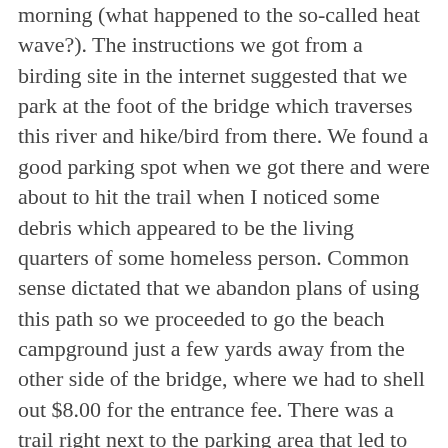morning (what happened to the so-called heat wave?). The instructions we got from a birding site in the internet suggested that we park at the foot of the bridge which traverses this river and hike/bird from there. We found a good parking spot when we got there and were about to hit the trail when I noticed some debris which appeared to be the living quarters of some homeless person. Common sense dictated that we abandon plans of using this path so we proceeded to go the beach campground just a few yards away from the other side of the bridge, where we had to shell out $8.00 for the entrance fee. There was a trail right next to the parking area that led to the river, or as we soon discovered, the river bed. The natural river turned to be a small creek and a lot of mud. The river bed itself was huge, probably a quarter or even a half- mile wide. In spring when the snows melt from the mountains and the resulting waters rush toward the ocean, this river, I imagine, would be a real beauty. For now we had to contend with patches of water here and there. But there were birds, lots of them, and majority of them hidden in